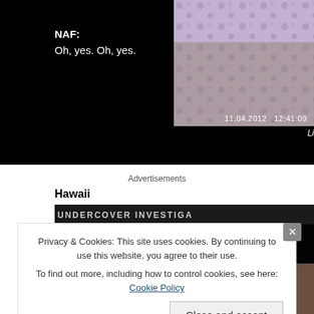[Figure (screenshot): Video still with black background. White text reads 'NAF: Oh, yes. Oh, yes.' Timestamp '11.04.2012 12:41:09' visible on right side with fabric/textile image.]
Advertisements
Hawaii
[Figure (screenshot): Live Action undercover investigation video thumbnail. Title reads 'Sex-Selection in America: Part 4, Hawaii'. Live Action logo (circle with LIVE ACTION text) on left. Person visible in lower portion.]
Privacy & Cookies: This site uses cookies. By continuing to use this website, you agree to their use.
To find out more, including how to control cookies, see here: Cookie Policy
Close and accept